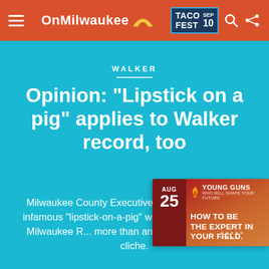OnMilwaukee | TACO FEST SEP 10
WALKER
Opinion: "Lipstick on a pig" applies to Walker record, too
Milwaukee County Executive Scott Walker's now-infamous "lipstick-on-a-pig" wi... October talk to the Milwaukee R... more than an ill-timed, throwaway cliche.
[Figure (other): Advertisement overlay for Young Guns event: AUG 25, HOW TO BE THE EXPERT IN YOUR FIELD.]